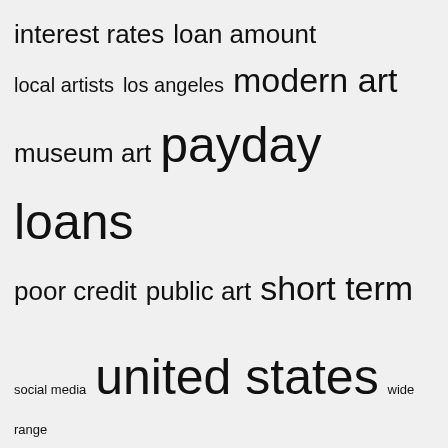[Figure (infographic): Tag cloud with terms of varying font sizes: interest rates, loan amount, local artists, los angeles, modern art, museum art, payday loans, poor credit, public art, short term, social media, united states, wide range, work art, works art]
Recent Posts
Amanda Watt: Liberation – Art Plugged
Learn to paint abstract floral art from this artist
Matthew Stone's AI Paintings Reflect a Changing Art World